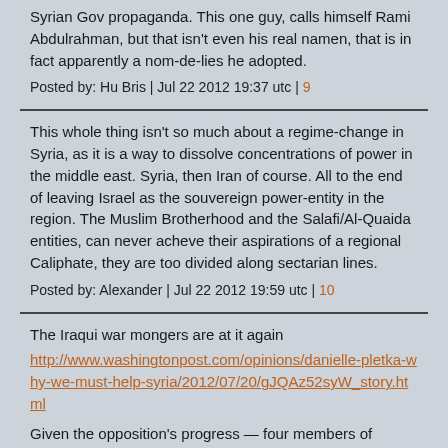Syrian Gov propaganda. This one guy, calls himself Rami Abdulrahman, but that isn't even his real namen, that is in fact apparently a nom-de-lies he adopted.
Posted by: Hu Bris | Jul 22 2012 19:37 utc | 9
This whole thing isn't so much about a regime-change in Syria, as it is a way to dissolve concentrations of power in the middle east. Syria, then Iran of course. All to the end of leaving Israel as the souvereign power-entity in the region. The Muslim Brotherhood and the Salafi/Al-Quaida entities, can never acheve their aspirations of a regional Caliphate, they are too divided along sectarian lines.
Posted by: Alexander | Jul 22 2012 19:59 utc | 10
The Iraqui war mongers are at it again
http://www.washingtonpost.com/opinions/danielle-pletka-why-we-must-help-syria/2012/07/20/gJQAz52syW_story.html
Given the opposition's progress — four members of Assad's inner circle died last week as fighting continues to rage across Damascus — and Washington's sclerotic decision-making, it's probably too late for the United States to begin directly arming the opposition. But it's not too late to step in